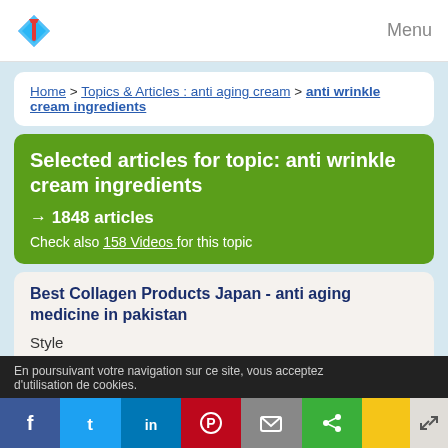Menu
Home > Topics & Articles : anti aging cream > anti wrinkle cream ingredients
Selected articles for topic: anti wrinkle cream ingredients
→ 1848 articles
Check also 158 Videos for this topic
Best Collagen Products Japan - anti aging medicine in pakistan
Style
Discover The 5 Solution to a Wrinkle Free Face - ALL EXPOSED TODAY!
Various sources across the internet have exposed a HUGE celebrity secret to erase wrinkles - without botox or surgery!
En poursuivant votre navigation sur ce site, vous acceptez d'utilisation de cookies.